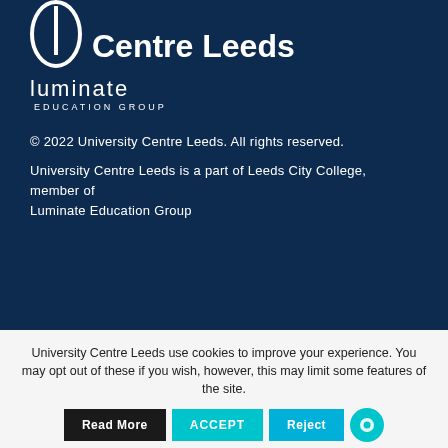[Figure (logo): University Centre Leeds logo with stylised 'U' letterform and text 'University Centre Leeds' in white on dark navy background]
[Figure (logo): Luminate Education Group logo in white text on dark navy background]
© 2022 University Centre Leeds. All rights reserved.
University Centre Leeds is a part of Leeds City College, member of Luminate Education Group
University Centre Leeds use cookies to improve your experience. You may opt out of these if you wish, however, this may limit some features of the site.
Read More  ACCEPT  Reject